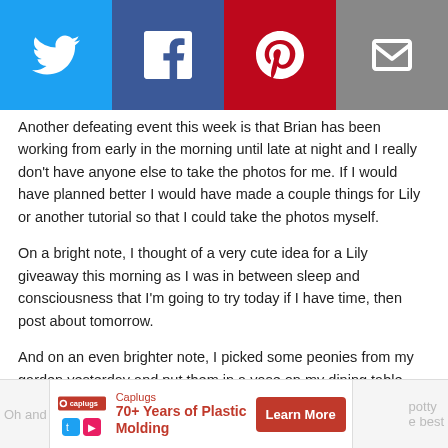[Figure (screenshot): Social sharing bar with four buttons: Twitter (blue), Facebook (dark blue), Pinterest (red), Email (gray)]
Another defeating event this week is that Brian has been working from early in the morning until late at night and I really don't have anyone else to take the photos for me. If I would have planned better I would have made a couple things for Lily or another tutorial so that I could take the photos myself.
On a bright note, I thought of a very cute idea for a Lily giveaway this morning as I was in between sleep and consciousness that I'm going to try today if I have time, then post about tomorrow.
And on an even brighter note, I picked some peonies from my garden yesterday and put them in a vase on my dining table which inspired me to clean my house. Everything feels so much better with a clean house and no laundry piled on my decorative armchairs. Oh and BTW, I think roses have nothing on peonies. THEY ARE GORGEOUS!
[Figure (screenshot): Bottom advertisement bar: Caplugs '70+ Years of Plastic Molding' Learn More button, with partial blog text visible behind it]